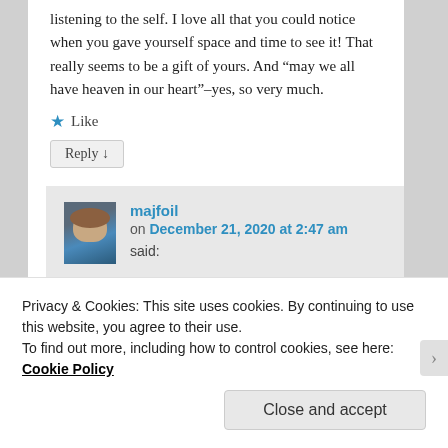listening to the self. I love all that you could notice when you gave yourself space and time to see it! That really seems to be a gift of yours. And “may we all have heaven in our heart”–yes, so very much.
★ Like
Reply ↓
majfoil
on December 21, 2020 at 2:47 am
said:
Privacy & Cookies: This site uses cookies. By continuing to use this website, you agree to their use.
To find out more, including how to control cookies, see here: Cookie Policy
Close and accept